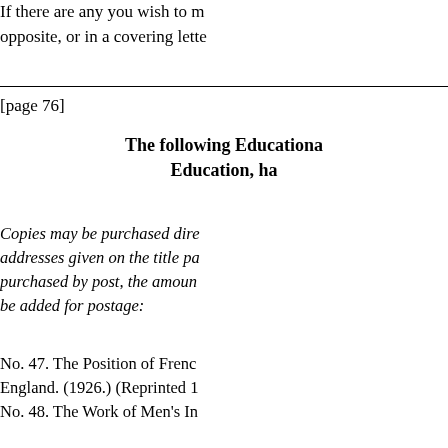If there are any you wish to m... opposite, or in a covering lette...
[page 76]
The following Educationa... Education, ha...
Copies may be purchased dire... addresses given on the title pa... purchased by post, the amoun... be added for postage:
No. 47. The Position of Frenc... England. (1926.) (Reprinted 1...
No. 48. The Work of Men's In...
No. 49. Survey of Technical a... Wales. (1926.) Price 1s.‡
No. 53. Secondary Education ... post 1s. 8d.)
No. 54. Report on the Provisio... Carriage and Wagon Buildin...